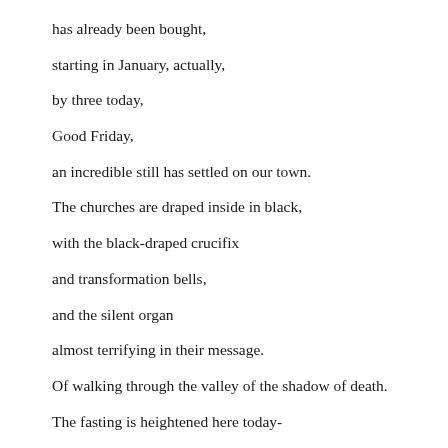has already been bought,
starting in January, actually,
by three today,
Good Friday,
an incredible still has settled on our town.
The churches are draped inside in black,
with the black-draped crucifix
and transformation bells,
and the silent organ
almost terrifying in their message.
Of walking through the valley of the shadow of death.
The fasting is heightened here today-